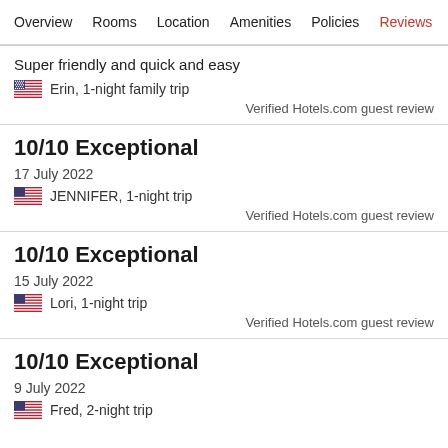Overview  Rooms  Location  Amenities  Policies  Reviews
Super friendly and quick and easy
Erin, 1-night family trip
Verified Hotels.com guest review
10/10 Exceptional
17 July 2022
JENNIFER, 1-night trip
Verified Hotels.com guest review
10/10 Exceptional
15 July 2022
Lori, 1-night trip
Verified Hotels.com guest review
10/10 Exceptional
9 July 2022
Fred, 2-night trip